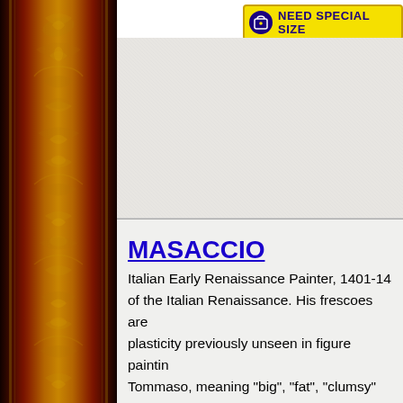checkout | NEED SPECIAL SIZE
[Figure (illustration): Decorative ornate dark red and gold frame panel on the left side of the page, with scrolling leaf/vine patterns in gold on dark burgundy background]
[Figure (photo): Painting image area (white/light gray textured background, painting not fully visible)]
MASACCIO
Italian Early Renaissance Painter, 1401-14... of the Italian Renaissance. His frescoes are... plasticity previously unseen in figure paintin... Tommaso, meaning "big", "fat", "clumsy" or... from his principal collaborator, also called T... ("little/delicate Tom"). Despite his brief care... one of the first to use scientific perspective... point in art for the first time. He also moved... of artists like Gentile da Fabriano to a more... realism. Masaccio was born to Giovanni di... Giovanni di Altura, now San Giovanni Valda... father was a notary and his mother the dau...